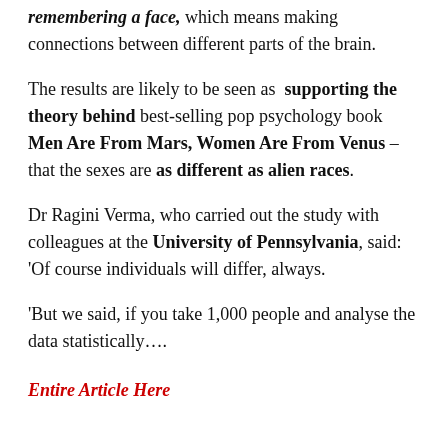remembering a face, which means making connections between different parts of the brain.
The results are likely to be seen as supporting the theory behind best-selling pop psychology book Men Are From Mars, Women Are From Venus – that the sexes are as different as alien races.
Dr Ragini Verma, who carried out the study with colleagues at the University of Pennsylvania, said: 'Of course individuals will differ, always.
'But we said, if you take 1,000 people and analyse the data statistically….
Entire Article Here